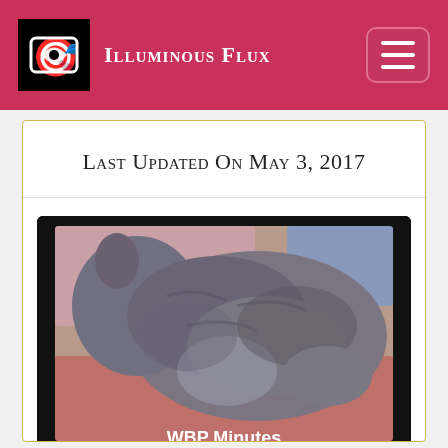Illuminous Flux
Last Updated On May 3, 2017
[Figure (photo): Photo of a gray cat lying down, with text 'WBP Minutes' overlaid at the bottom. The image has a black border/background with rounded corners.]